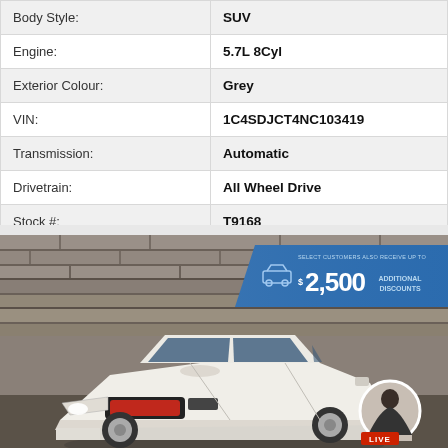| Property | Value |
| --- | --- |
| Body Style: | SUV |
| Engine: | 5.7L 8Cyl |
| Exterior Colour: | Grey |
| VIN: | 1C4SDJCT4NC103419 |
| Transmission: | Automatic |
| Drivetrain: | All Wheel Drive |
| Stock #: | T9168 |
[Figure (photo): White Dodge Durango SUV photographed against a stone wall background. Blue banner overlay in top right reads 'SELECT CUSTOMERS ALSO RECEIVE UP TO $2,500 ADDITIONAL DISCOUNTS' with a car icon. Live agent circle in bottom right corner with LIVE badge.]